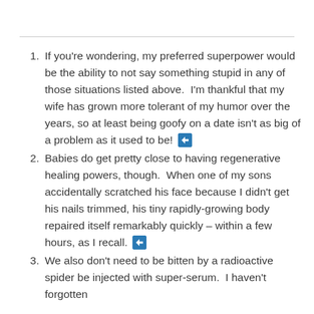1. If you're wondering, my preferred superpower would be the ability to not say something stupid in any of those situations listed above. I'm thankful that my wife has grown more tolerant of my humor over the years, so at least being goofy on a date isn't as big of a problem as it used to be! [arrow icon]
2. Babies do get pretty close to having regenerative healing powers, though. When one of my sons accidentally scratched his face because I didn't get his nails trimmed, his tiny rapidly-growing body repaired itself remarkably quickly – within a few hours, as I recall. [arrow icon]
3. We also don't need to be bitten by a radioactive spider be injected with super-serum. I haven't forgotten [arrow icon]